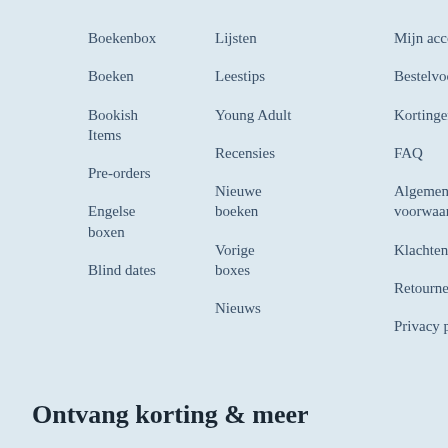Boekenbox
Boeken
Bookish Items
Pre-orders
Engelse boxen
Blind dates
Lijsten
Leestips
Young Adult
Recensies
Nieuwe boeken
Vorige boxes
Nieuws
Mijn account
Bestelvoorwaarden
Kortingen
FAQ
Algemene voorwaarden
Klachtenregeling
Retourneren
Privacy policy
Ontvang korting & meer